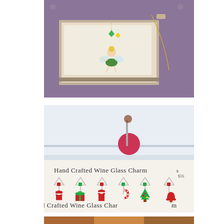[Figure (photo): A Tinker Bell fairy necklace charm displayed in an open jewelry gift box on a purple surface. The charm features a green and yellow fairy figure with a chain visible.]
[Figure (photo): A set of Hand Crafted Wine Glass Charms displayed on a white card. The charms are Christmas-themed including Santa, presents, candy canes, and Christmas trees with red and green colors. The card reads 'Hand Crafted Wine Glass Charms' at top and bottom.]
[Figure (photo): Partial view of a third image at the very bottom of the page, cropped.]